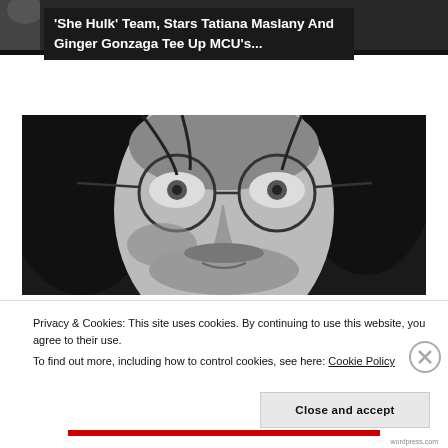[Figure (photo): Dark background top image strip showing partial view of a figure or scene]
'She Hulk' Team, Stars Tatiana Maslany And Ginger Gonzaga Tee Up MCU's...
[Figure (photo): Black and white close-up portrait of a young man with long hair and round wire-frame glasses, looking slightly upward]
Privacy & Cookies: This site uses cookies. By continuing to use this website, you agree to their use.
To find out more, including how to control cookies, see here: Cookie Policy
Close and accept